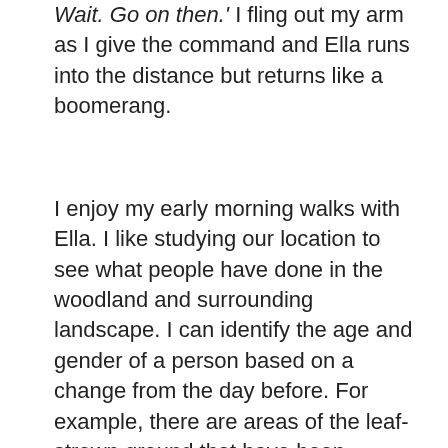Wait. Go on then.' I fling out my arm as I give the command and Ella runs into the distance but returns like a boomerang.
I enjoy my early morning walks with Ella. I like studying our location to see what people have done in the woodland and surrounding landscape. I can identify the age and gender of a person based on a change from the day before. For example, there are areas of the leaf-strewn ground that have been disturbed to reveal the sludgy, underlying mud. This was done by children, they have been using the mud as glue to build their bases and as ink to write on trees around the woods, marking their territory. I scratch it off.
There are scuff marks on every tree in one cluster, the scuffs are from the children's dirty shoes. As they climbed up the trees they left their mark. They would